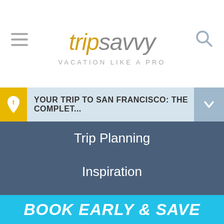[Figure (logo): TripSavvy logo with hamburger menu icon on left and search icon on right. Logo reads 'trip' in gold italic and 'savvy' in grey italic. Tagline: VACATION LIKE A PRO]
YOUR TRIP TO SAN FRANCISCO: THE COMPLET...
Trip Planning
Inspiration
Outdoors
News
ABOUT US
CONTACT
ADVERTISE
CALIFORNIA
BOOK EARLY & SAVE